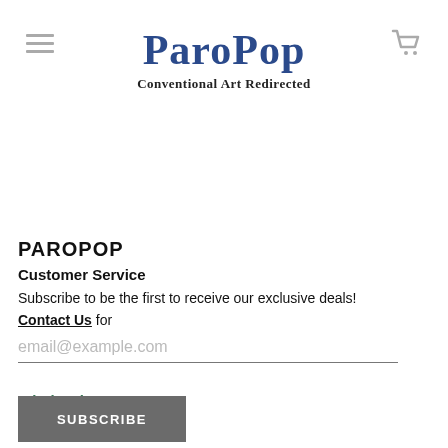ParoPop — Conventional Art Redirected
PAROPOP
Customer Service
Subscribe to be the first to receive our exclusive deals!
Contact Us for
email@example.com
Wholesale
SUBSCRIBE
Menu